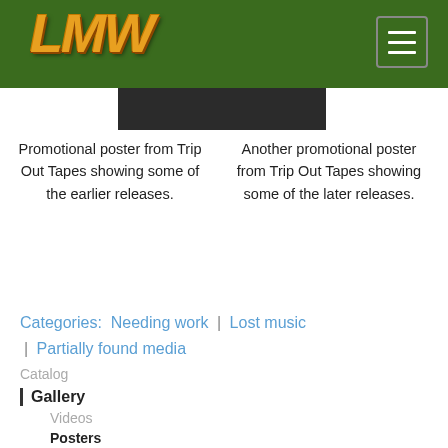LMW
Promotional poster from Trip Out Tapes showing some of the earlier releases.
Another promotional poster from Trip Out Tapes showing some of the later releases.
Categories:  Needing work | Lost music | Partially found media
Catalog
Gallery
Videos
Posters